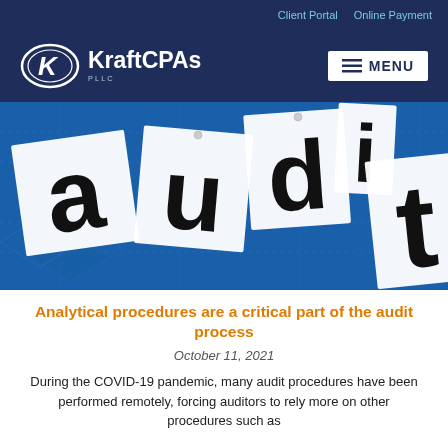Client Portal  Online Payment
[Figure (logo): KraftCPAs PLLC logo with oval K emblem and MENU hamburger button on dark navy background]
[Figure (photo): Photo of paper tiles spelling out the word 'audit' on a blue grid/technical drawing background]
Analytical procedures are a critical part of the audit process
October 11, 2021
During the COVID-19 pandemic, many audit procedures have been performed remotely, forcing auditors to rely more on other procedures such as